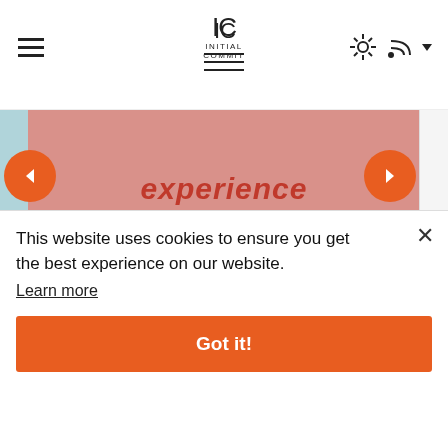INITIAL COMMIT
How To Learn Java With No Programming Experience
java programming
This website uses cookies to ensure you get the best experience on our website.
Learn more
Got it!